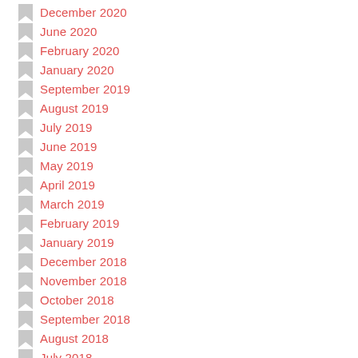December 2020
June 2020
February 2020
January 2020
September 2019
August 2019
July 2019
June 2019
May 2019
April 2019
March 2019
February 2019
January 2019
December 2018
November 2018
October 2018
September 2018
August 2018
July 2018